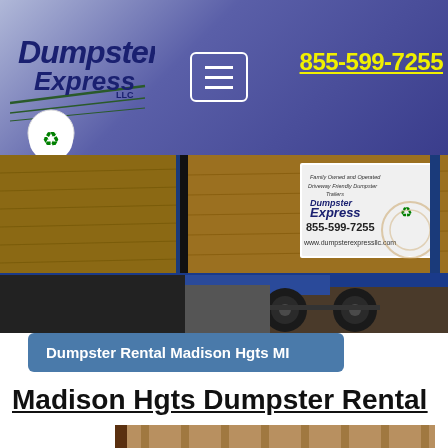[Figure (logo): Dumpster Express LLC logo with italic bold text and recycling icon]
855-599-7255
[Figure (photo): Photo of a dumpster trailer with wooden sides showing Dumpster Express branding sign reading 855-599-7255 and www.dumpsterexpressllc.com]
Dumpster Rental Madison Hgts MI
Madison Hgts Dumpster Rental
[Figure (photo): Bottom portion of a photo showing what appears to be a dumpster or storage unit]